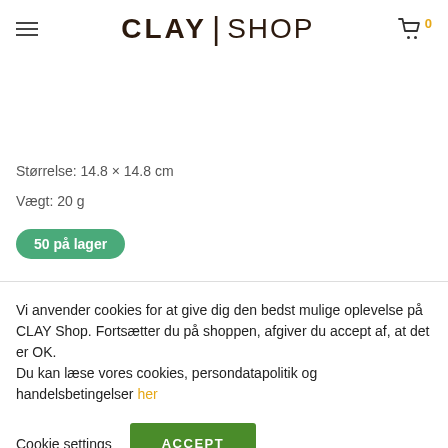CLAY | SHOP
Størrelse: 14.8 × 14.8 cm
Vægt: 20 g
50 på lager
Vi anvender cookies for at give dig den bedst mulige oplevelse på CLAY Shop. Fortsætter du på shoppen, afgiver du accept af, at det er OK.
Du kan læse vores cookies, persondatapolitik og handelsbetingelser her
Cookie settings
ACCEPT